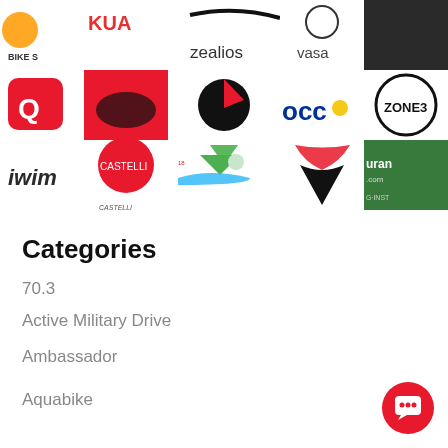[Figure (logo): Grid of sponsor/brand logos including QUARQ, Zealios, VASA, Zone3, Pactimo, OCC Gear, Castelli, iWim, and others]
Categories
70.3
Active Military Drive
Ambassador
Aquabike